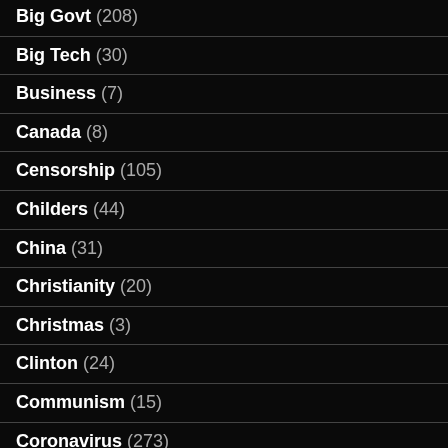Big Govt (208)
Big Tech (30)
Business (7)
Canada (8)
Censorship (105)
Childers (44)
China (31)
Christianity (20)
Christmas (3)
Clinton (24)
Communism (15)
Coronavirus (273)
Creative (5)